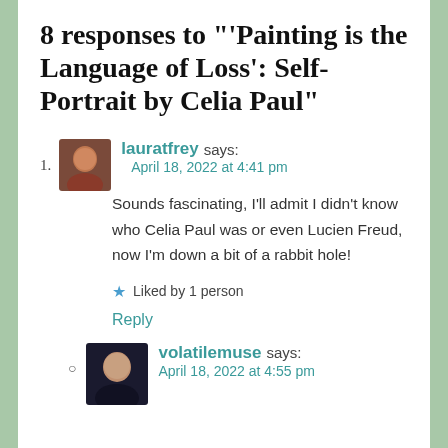8 responses to "'Painting is the Language of Loss': Self-Portrait by Celia Paul"
1. lauratfrey says: April 18, 2022 at 4:41 pm — Sounds fascinating, I'll admit I didn't know who Celia Paul was or even Lucien Freud, now I'm down a bit of a rabbit hole! — Liked by 1 person — Reply
volatilemuse says: April 18, 2022 at 4:55 pm